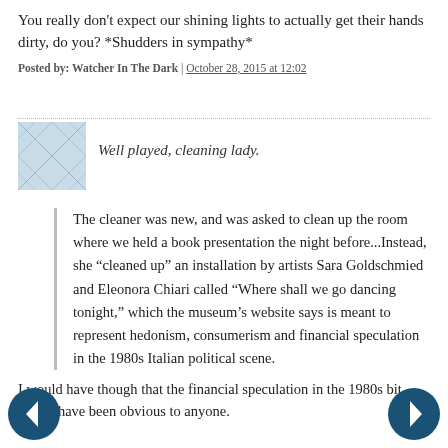You really don't expect our shining lights to actually get their hands dirty, do you? *Shudders in sympathy*
Posted by: Watcher In The Dark | October 28, 2015 at 12:02
Well played, cleaning lady.
The cleaner was new, and was asked to clean up the room where we held a book presentation the night before...Instead, she “cleaned up” an installation by artists Sara Goldschmied and Eleonora Chiari called “Where shall we go dancing tonight,” which the museum’s website says is meant to represent hedonism, consumerism and financial speculation in the 1980s Italian political scene.
I would have though that the financial speculation in the 1980s bit would have been obvious to anyone.